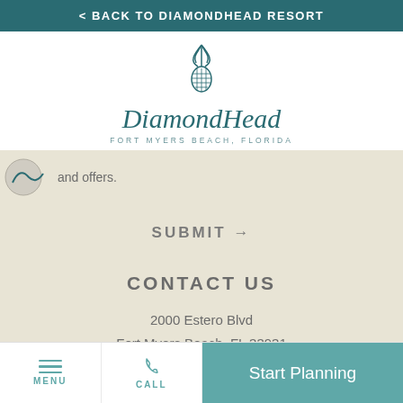< BACK TO DIAMONDHEAD RESORT
[Figure (logo): DiamondHead resort logo with pineapple icon and text 'DiamondHead' in teal cursive, subtitle FORT MYERS BEACH, FLORIDA]
and offers.
SUBMIT →
CONTACT US
2000 Estero Blvd
Fort Myers Beach, FL 33931
(855) 593-9377
MENU   CALL   Start Planning